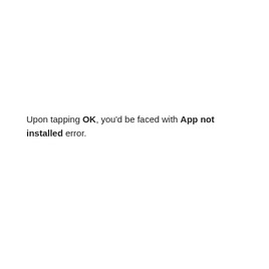Upon tapping OK, you'd be faced with App not installed error.